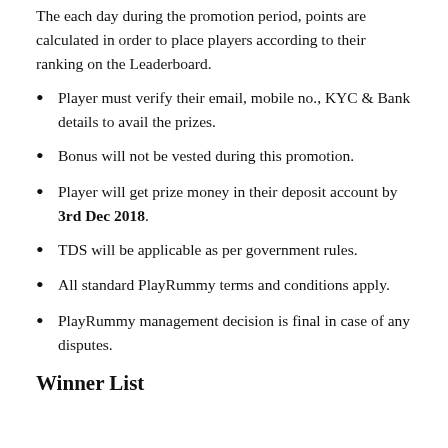The each day during the promotion period, points are calculated in order to place players according to their ranking on the Leaderboard.
Player must verify their email, mobile no., KYC & Bank details to avail the prizes.
Bonus will not be vested during this promotion.
Player will get prize money in their deposit account by 3rd Dec 2018.
TDS will be applicable as per government rules.
All standard PlayRummy terms and conditions apply.
PlayRummy management decision is final in case of any disputes.
Winner List